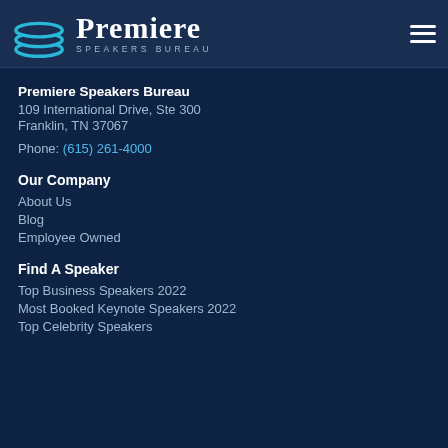[Figure (logo): Premiere Speakers Bureau logo with disc/ring icon and text]
Premiere Speakers Bureau
109 International Drive, Ste 300
Franklin, TN 37067
Phone: (615) 261-4000
Our Company
About Us
Blog
Employee Owned
Find A Speaker
Top Business Speakers 2022
Most Booked Keynote Speakers 2022
Top Celebrity Speakers